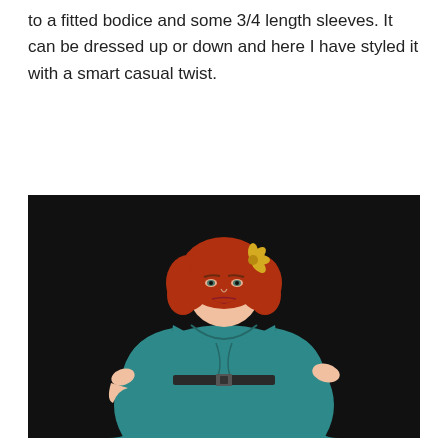to a fitted bodice and some 3/4 length sleeves. It can be dressed up or down and here I have styled it with a smart casual twist.
[Figure (photo): A woman with short curly red hair and a gold flower hair accessory, wearing a teal/turquoise fitted dress with 3/4 length sleeves and a black belt, posing against a dark background.]